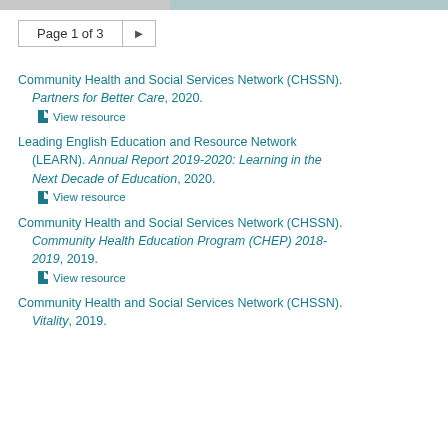Community Health and Social Services Network (CHSSN). Partners for Better Care, 2020.
View resource
Leading English Education and Resource Network (LEARN). Annual Report 2019-2020: Learning in the Next Decade of Education, 2020.
View resource
Community Health and Social Services Network (CHSSN). Community Health Education Program (CHEP) 2018-2019, 2019.
View resource
Community Health and Social Services Network (CHSSN). Vitality, 2019.